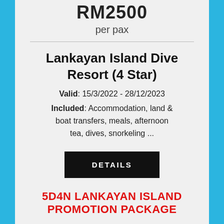RM2500
per pax
Lankayan Island Dive Resort (4 Star)
Valid: 15/3/2022 - 28/12/2023
Included: Accommodation, land & boat transfers, meals, afternoon tea, dives, snorkeling ...
DETAILS
5D4N LANKAYAN ISLAND PROMOTION PACKAGE